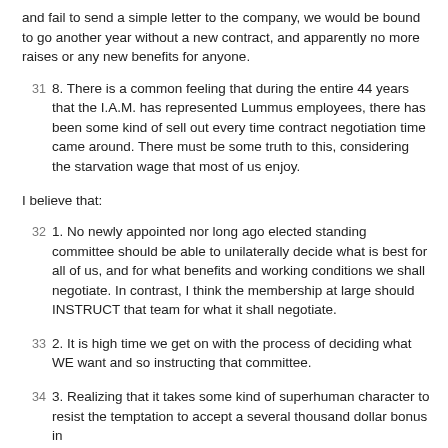and fail to send a simple letter to the company, we would be bound to go another year without a new contract, and apparently no more raises or any new benefits for anyone.
31 8. There is a common feeling that during the entire 44 years that the I.A.M. has represented Lummus employees, there has been some kind of sell out every time contract negotiation time came around. There must be some truth to this, considering the starvation wage that most of us enjoy.
I believe that:
32 1. No newly appointed nor long ago elected standing committee should be able to unilaterally decide what is best for all of us, and for what benefits and working conditions we shall negotiate. In contrast, I think the membership at large should INSTRUCT that team for what it shall negotiate.
33 2. It is high time we get on with the process of deciding what WE want and so instructing that committee.
34 3. Realizing that it takes some kind of superhuman character to resist the temptation to accept a several thousand dollar bonus in